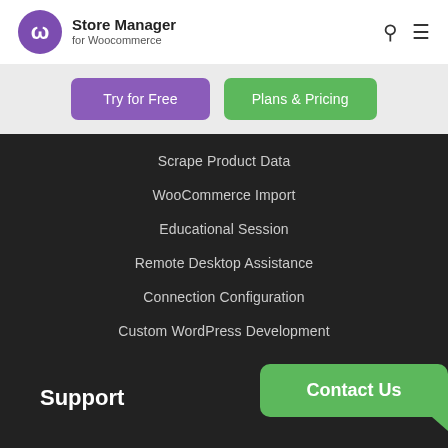[Figure (logo): Store Manager for WooCommerce logo — purple circle with shopping cart icon, followed by bold text 'Store Manager' and smaller text 'for Woocommerce']
Try for Free
Plans & Pricing
Scrape Product Data
WooCommerce Import
Educational Session
Remote Desktop Assistance
Connection Configuration
Custom WordPress Development
Support
Contact Us